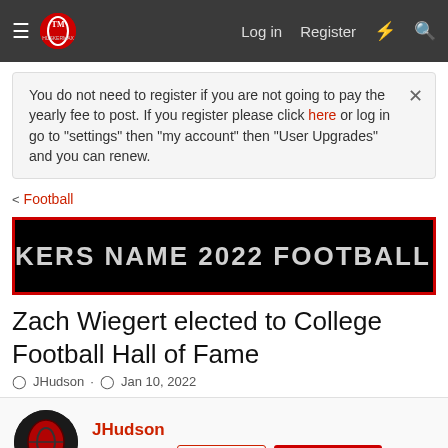HuskerMax — Log in  Register
You do not need to register if you are not going to pay the yearly fee to post. If you register please click here or log in go to "settings" then "my account" then "User Upgrades" and you can renew.
< Football
[Figure (screenshot): Black banner with scrolling text: KERS NAME 2022 FOOTBALL CAPTAINS   HUSKER HOU]
Zach Wiegert elected to College Football Hall of Fame
JHudson · Jan 10, 2022
JHudson  Administrator  Staff member  20 Year Member